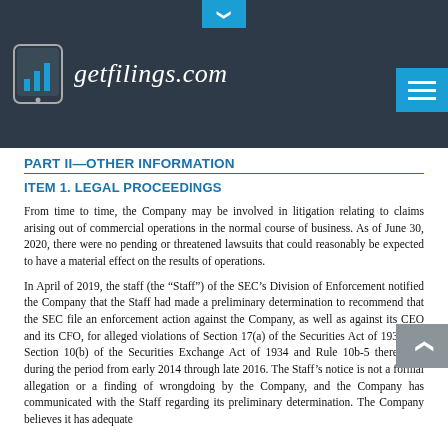getfilings.com
PART II—OTHER INFORMATION
ITEM 1. LEGAL PROCEEDINGS
From time to time, the Company may be involved in litigation relating to claims arising out of commercial operations in the normal course of business. As of June 30, 2020, there were no pending or threatened lawsuits that could reasonably be expected to have a material effect on the results of operations.
In April of 2019, the staff (the “Staff”) of the SEC’s Division of Enforcement notified the Company that the Staff had made a preliminary determination to recommend that the SEC file an enforcement action against the Company, as well as against its CEO and its CFO, for alleged violations of Section 17(a) of the Securities Act of 1933 and Section 10(b) of the Securities Exchange Act of 1934 and Rule 10b-5 thereunder during the period from early 2014 through late 2016. The Staff’s notice is not a formal allegation or a finding of wrongdoing by the Company, and the Company has communicated with the Staff regarding its preliminary determination. The Company believes it has adequate